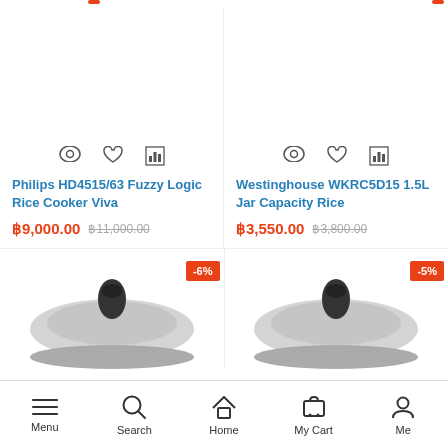[Figure (screenshot): Product listing page showing two rice cookers and bottom nav bar]
Philips HD4515/63 Fuzzy Logic Rice Cooker Viva
฿9,000.00  ฿11,000.00
Westinghouse WKRC5D15 1.5L Jar Capacity Rice
฿3,550.00  ฿3,800.00
-6%
-5%
Menu  Search  Home  My Cart  Me